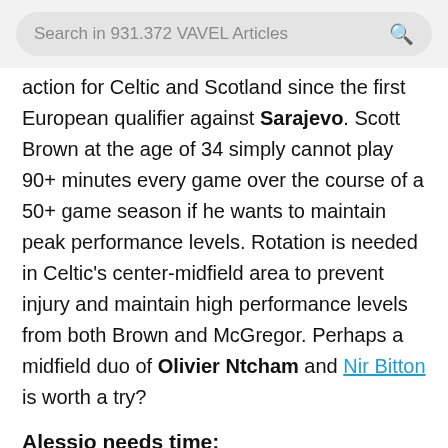[Figure (screenshot): Search bar with text 'Search in 931.372 VAVEL Articles' and a search icon on the right]
action for Celtic and Scotland since the first European qualifier against Sarajevo. Scott Brown at the age of 34 simply cannot play 90+ minutes every game over the course of a 50+ game season if he wants to maintain peak performance levels. Rotation is needed in Celtic's center-midfield area to prevent injury and maintain high performance levels from both Brown and McGregor. Perhaps a midfield duo of Olivier Ntcham and Nir Bitton is worth a try?
Alessio needs time:
In the face of criticism from Kirk Broadfoot and Kris Boyd, the duo raised questions to Alessio's...